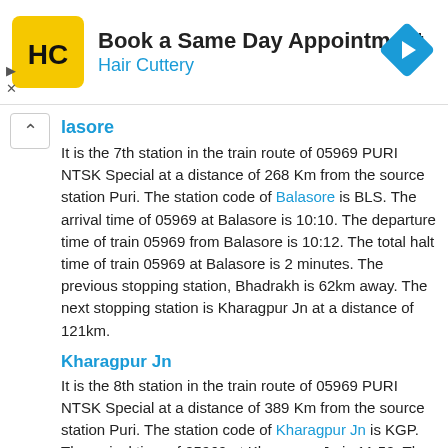[Figure (other): Advertisement banner for Hair Cuttery: Book a Same Day Appointment]
lasore
It is the 7th station in the train route of 05969 PURI NTSK Special at a distance of 268 Km from the source station Puri. The station code of Balasore is BLS. The arrival time of 05969 at Balasore is 10:10. The departure time of train 05969 from Balasore is 10:12. The total halt time of train 05969 at Balasore is 2 minutes. The previous stopping station, Bhadrakh is 62km away. The next stopping station is Kharagpur Jn at a distance of 121km.
Kharagpur Jn
It is the 8th station in the train route of 05969 PURI NTSK Special at a distance of 389 Km from the source station Puri. The station code of Kharagpur Jn is KGP. The arrival time of 05969 at Kharagpur Jn is 11:50. The departure time of train 05969 from Kharagpur Jn is 11:55. The total halt time of train 05969 at Kharagpur Jn is 5 minutes. The previous